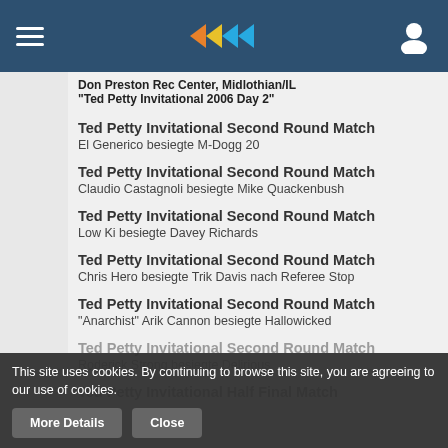Don Preston Rec Center, Midlothian/IL "Ted Petty Invitational 2006 Day 2"
Ted Petty Invitational Second Round Match
El Generico besiegte M-Dogg 20
Ted Petty Invitational Second Round Match
Claudio Castagnoli besiegte Mike Quackenbush
Ted Petty Invitational Second Round Match
Low Ki besiegte Davey Richards
Ted Petty Invitational Second Round Match
Chris Hero besiegte Trik Davis nach Referee Stop
Ted Petty Invitational Second Round Match
"Anarchist" Arik Cannon besiegte Hallowicked
Ted Petty Invitational Second Round Match
Roderick Strong besiegte Delirious
Ted Petty Invitational Half Final Match
This site uses cookies. By continuing to browse this site, you are agreeing to our use of cookies.